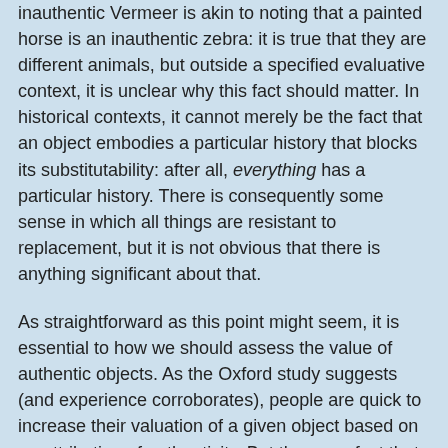inauthentic Vermeer is akin to noting that a painted horse is an inauthentic zebra: it is true that they are different animals, but outside a specified evaluative context, it is unclear why this fact should matter. In historical contexts, it cannot merely be the fact that an object embodies a particular history that blocks its substitutability: after all, everything has a particular history. There is consequently some sense in which all things are resistant to replacement, but it is not obvious that there is anything significant about that.
As straightforward as this point might seem, it is essential to how we should assess the value of authentic objects. As the Oxford study suggests (and experience corroborates), people are quick to increase their valuation of a given object based on an attribution of authenticity. But the mere fact that an object is authentic should not be where the evaluative buck stops—rather, it should be where evaluative reflection begins. If not, we risk an unacceptable proliferation of objects that we believe are resistant to replacement, which can